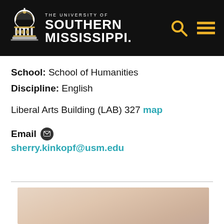[Figure (logo): University of Southern Mississippi logo with dome building icon and text]
School: School of Humanities
Discipline: English
Liberal Arts Building (LAB) 327 map
Email  sherry.kinkopf@usm.edu
[Figure (photo): Partial photo of a person, warm skin tones, cropped at bottom of page]